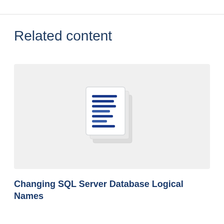Related content
[Figure (illustration): Document/pages icon illustration showing stacked pages with blue horizontal lines representing text, rendered in a light outline style on a light grey background card.]
Changing SQL Server Database Logical Names